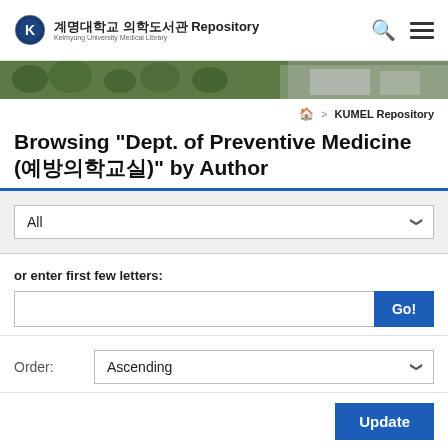계명대학교 의학도서관 Repository — Keimyung University Medical Library
[Figure (photo): Green trees and university building hero banner strip]
🏠 > KUMEL Repository
Browsing "Dept. of Preventive Medicine (예방의학교실)" by Author
All (dropdown selector)
or enter first few letters:
Go! button
Order: Ascending (dropdown)
Update